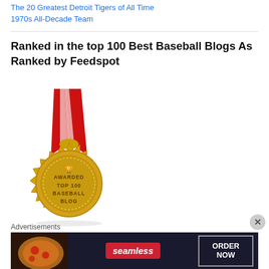The 20 Greatest Detroit Tigers of All Time
1970s All-Decade Team
Ranked in the top 100 Best Baseball Blogs As Ranked by Feedspot
[Figure (illustration): Gold medal with red and white ribbon awarded for Top 100 Baseball Blog by Feedspot. The medal is gold with a starburst edge, trophy icon at top, and text reading AWARDED TOP 100 BASEBALL BLOG.]
Advertisements
[Figure (screenshot): Seamless food delivery advertisement banner with pizza image on left, Seamless logo in red center, and ORDER NOW button on right against dark background.]